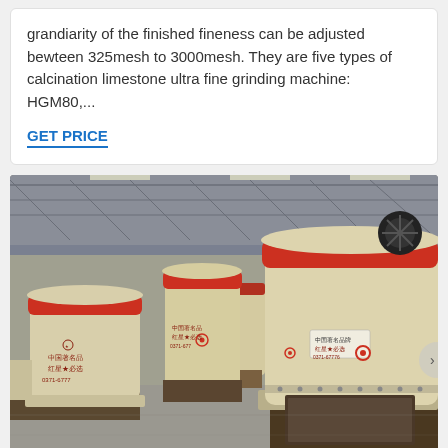grandiarity of the finished fineness can be adjusted bewteen 325mesh to 3000mesh. They are five types of calcination limestone ultra fine grinding machine: HGM80,...
GET PRICE
[Figure (photo): Factory floor photograph showing a row of large yellow industrial grinding machines (HGM series ultra fine grinding mills) with red accent bands, Chinese text markings, arranged in a production hall with steel truss roof structure.]